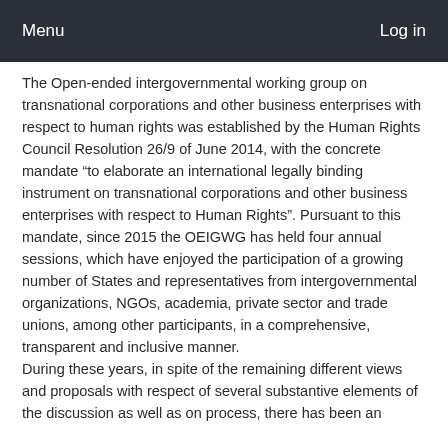Menu  Log in
The Open-ended intergovernmental working group on transnational corporations and other business enterprises with respect to human rights was established by the Human Rights Council Resolution 26/9 of June 2014, with the concrete mandate “to elaborate an international legally binding instrument on transnational corporations and other business enterprises with respect to Human Rights”. Pursuant to this mandate, since 2015 the OEIGWG has held four annual sessions, which have enjoyed the participation of a growing number of States and representatives from intergovernmental organizations, NGOs, academia, private sector and trade unions, among other participants, in a comprehensive, transparent and inclusive manner.
During these years, in spite of the remaining different views and proposals with respect of several substantive elements of the discussion as well as on process, there has been an